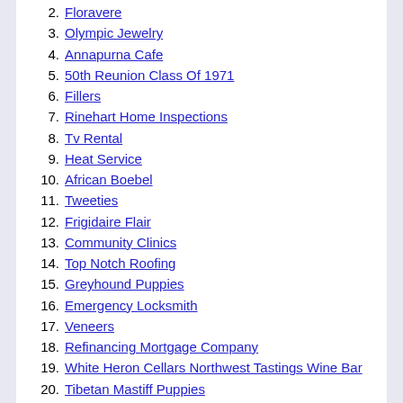2. Floravere
3. Olympic Jewelry
4. Annapurna Cafe
5. 50th Reunion Class Of 1971
6. Fillers
7. Rinehart Home Inspections
8. Tv Rental
9. Heat Service
10. African Boebel
11. Tweeties
12. Frigidaire Flair
13. Community Clinics
14. Top Notch Roofing
15. Greyhound Puppies
16. Emergency Locksmith
17. Veneers
18. Refinancing Mortgage Company
19. White Heron Cellars Northwest Tastings Wine Bar
20. Tibetan Mastiff Puppies
Tibetan Mastiff Puppies